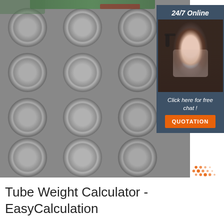[Figure (photo): Stacked steel wire rod coils in an industrial warehouse, showing rows of circular coiled wire rods in silver/grey color]
[Figure (infographic): Sidebar panel showing '24/7 Online' header, a female customer service agent with headset, text 'Click here for free chat!', and an orange QUOTATION button]
[Figure (logo): TOP logo with orange dot pattern above and orange/grey 'TOP' text]
Tube Weight Calculator - EasyCalculation